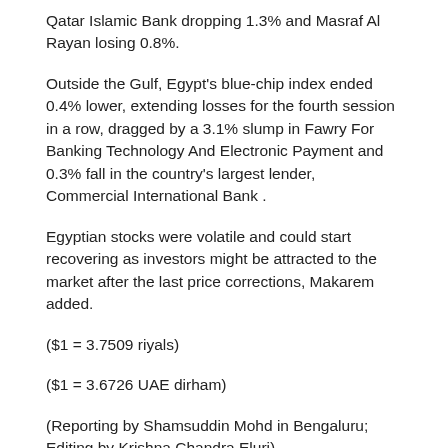Qatar Islamic Bank dropping 1.3% and Masraf Al Rayan losing 0.8%.
Outside the Gulf, Egypt's blue-chip index ended 0.4% lower, extending losses for the fourth session in a row, dragged by a 3.1% slump in Fawry For Banking Technology And Electronic Payment and 0.3% fall in the country's largest lender, Commercial International Bank .
Egyptian stocks were volatile and could start recovering as investors might be attracted to the market after the last price corrections, Makarem added.
($1 = 3.7509 riyals)
($1 = 3.6726 UAE dirham)
(Reporting by Shamsuddin Mohd in Bengaluru; Editing by Krishna Chandra Eluri)
((shamsuddin.mohd@thomsonreuters.com;